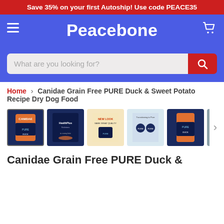Save 35% on your first Autoship! Use code PEACE35
Peacebone
What are you looking for?
Home > Canidae Grain Free PURE Duck & Sweet Potato Recipe Dry Dog Food
[Figure (photo): Row of 6 product thumbnail images for Canidae Grain Free PURE Duck & Sweet Potato Recipe Dry Dog Food, with first image selected (bordered). Items include dog food bag, informational graphics, new look packaging, transition chart, another bag, and a dog photo. Arrow on right for more images.]
Canidae Grain Free PURE Duck &